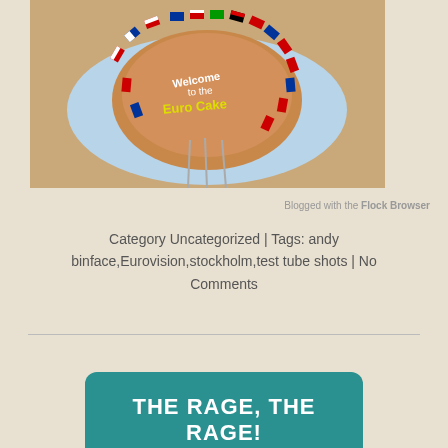[Figure (photo): A cake decorated with miniature European country flags arranged in a circle on a blue plate, with text on the cake reading 'Welcome to the Euro Cake']
Blogged with the Flock Browser
Category Uncategorized | Tags: andy binface,Eurovision,stockholm,test tube shots | No Comments
THE RAGE, THE RAGE!